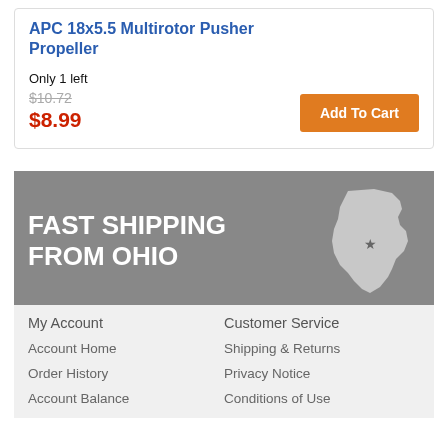APC 18x5.5 Multirotor Pusher Propeller
Only 1 left
$10.72
$8.99
Add To Cart
[Figure (illustration): Fast Shipping From Ohio banner with Ohio state map silhouette]
My Account
Customer Service
Account Home
Shipping & Returns
Order History
Privacy Notice
Account Balance
Conditions of Use